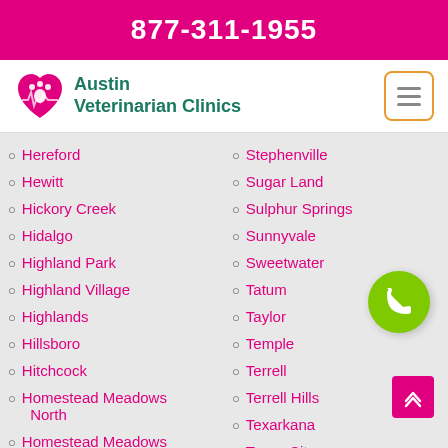877-311-1955
[Figure (logo): Austin Veterinarian Clinics logo with paw/heart icon]
Hereford
Hewitt
Hickory Creek
Hidalgo
Highland Park
Highland Village
Highlands
Hillsboro
Hitchcock
Homestead Meadows North
Homestead Meadows
Stephenville
Sugar Land
Sulphur Springs
Sunnyvale
Sweetwater
Tatum
Taylor
Temple
Terrell
Terrell Hills
Texarkana
Texas City